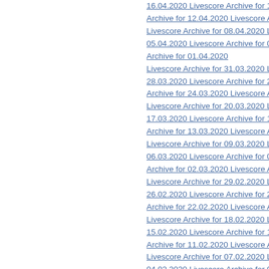16.04.2020   Livescore Archive for 15.04.202…
Archive for 12.04.2020   Livescore Archive fo…
Livescore Archive for 08.04.2020   Livescore…
05.04.2020   Livescore Archive for 04.04.202…
Archive for 01.04.2020
Livescore Archive for 31.03.2020   Livescore…
28.03.2020   Livescore Archive for 27.03.202…
Archive for 24.03.2020   Livescore Archive fo…
Livescore Archive for 20.03.2020   Livescore…
17.03.2020   Livescore Archive for 16.03.202…
Archive for 13.03.2020   Livescore Archive fo…
Livescore Archive for 09.03.2020   Livescore…
06.03.2020   Livescore Archive for 05.03.202…
Archive for 02.03.2020   Livescore Archive for…
Livescore Archive for 29.02.2020   Livescore…
26.02.2020   Livescore Archive for 25.02.202…
Archive for 22.02.2020   Livescore Archive fo…
Livescore Archive for 18.02.2020   Livescore…
15.02.2020   Livescore Archive for 14.02.202…
Archive for 11.02.2020   Livescore Archive fo…
Livescore Archive for 07.02.2020   Livescore…
04.02.2020   Livescore Archive for 03.02.2020…
Livescore Archive for 31.01.2020   Livescore…
28.01.2020   Livescore Archive for 27.01.202…
Archive for 24.01.2020   Livescore Archive fo…